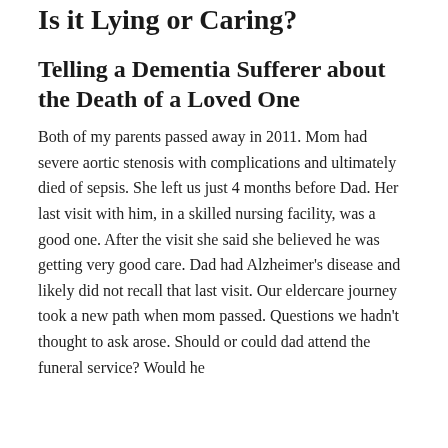Is it Lying or Caring?
Telling a Dementia Sufferer about the Death of a Loved One
Both of my parents passed away in 2011. Mom had severe aortic stenosis with complications and ultimately died of sepsis. She left us just 4 months before Dad. Her last visit with him, in a skilled nursing facility, was a good one. After the visit she said she believed he was getting very good care. Dad had Alzheimer’s disease and likely did not recall that last visit. Our eldercare journey took a new path when mom passed. Questions we hadn’t thought to ask arose. Should or could dad attend the funeral service? Would he